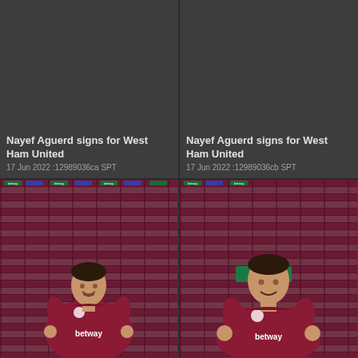[Figure (photo): Dark gray placeholder area - top left cell, no photo visible]
Nayef Aguerd signs for West Ham United
17 Jun 2022 :12989036ca SPT
[Figure (photo): Dark gray placeholder area - top right cell, no photo visible]
Nayef Aguerd signs for West Ham United
17 Jun 2022 :12989036cb SPT
[Figure (photo): Nayef Aguerd in West Ham United claret kit with betway sponsor, giving thumbs up in front of branded backdrop]
[Figure (photo): Nayef Aguerd in West Ham United claret kit with betway sponsor, closer shot, giving thumbs up in front of branded backdrop]